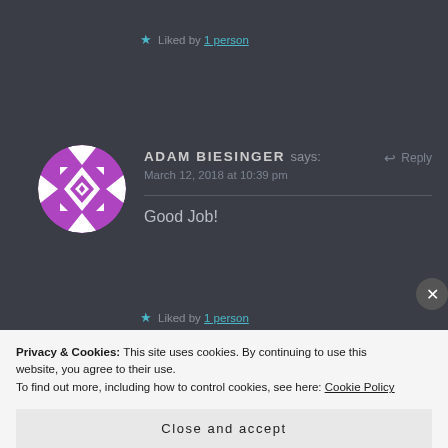★ Liked by 1 person
ADAM BIESINGER says: March 12, 2018 at 10:39 pm
Reply
Good Job!
★ Liked by 1 person
Privacy & Cookies: This site uses cookies. By continuing to use this website, you agree to their use. To find out more, including how to control cookies, see here: Cookie Policy
Close and accept